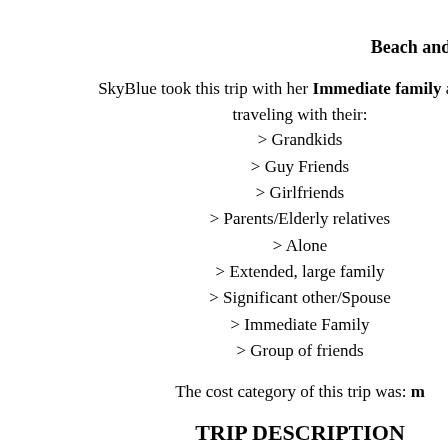Well-being: Spa
Beach and Nature: Beach, Gar
SkyBlue took this trip with her Immediate family and also traveling with their:
> Grandkids
> Guy Friends
> Girlfriends
> Parents/Elderly relatives
> Alone
> Extended, large family
> Significant other/Spouse
> Immediate Family
> Group of friends
The cost category of this trip was: m
TRIP DESCRIPTION
I've traveled to the Bahamas five times, each during a diffe my husband, then with our best friends, later with our ch teens, and the last time with our teen daughter and her f beautiful weather and beaches, the relatively quick trip ar there and the local Bahamian flavor. Depending on where wonderful beach, fantastic restaurants, a thriving seapor